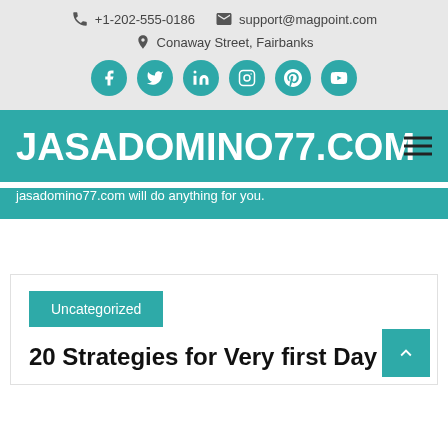+1-202-555-0186  support@magpoint.com  Conaway Street, Fairbanks
JASADOMINO77.COM
jasadomino77.com will do anything for you.
Uncategorized
20 Strategies for Very first Day Achievements